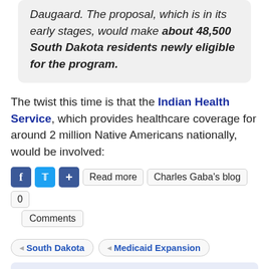Daugaard. The proposal, which is in its early stages, would make about 48,500 South Dakota residents newly eligible for the program.
The twist this time is that the Indian Health Service, which provides healthcare coverage for around 2 million Native Americans nationally, would be involved:
[Figure (other): Social sharing buttons: Facebook, Twitter, Google Plus, Read more, Charles Gaba's blog, 0 Comments]
South Dakota | Medicaid Expansion (tag pills)
South Dakota: DakotaCare